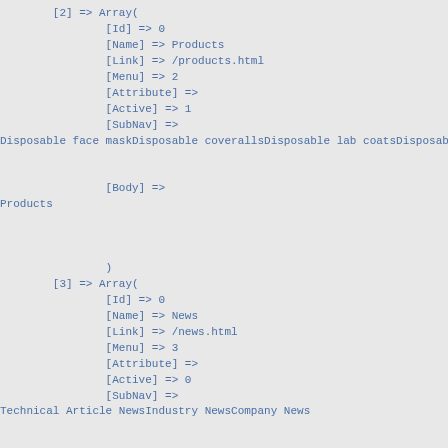[2] => Array(
        [Id] => 0
        [Name] => Products
        [Link] => /products.html
        [Menu] => 2
        [Attribute] =>
        [Active] => 1
        [SubNav] =>
Disposable face maskDisposable coverallsDisposable lab coatsDisposable g


        [Body] =>
Products



        )
[3] => Array(
        [Id] => 0
        [Name] => News
        [Link] => /news.html
        [Menu] => 3
        [Attribute] =>
        [Active] => 0
        [SubNav] =>
Technical Article NewsIndustry NewsCompany News